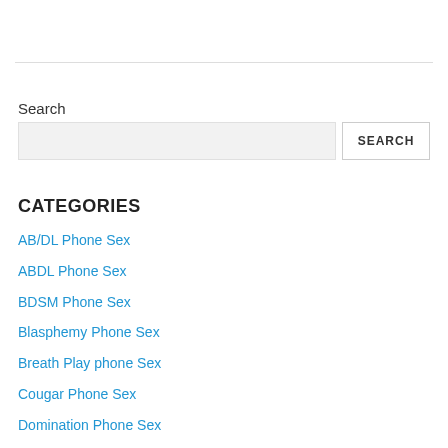Search
Search input and button
CATEGORIES
AB/DL Phone Sex
ABDL Phone Sex
BDSM Phone Sex
Blasphemy Phone Sex
Breath Play phone Sex
Cougar Phone Sex
Domination Phone Sex
Erotic Hypnosis Phone Sex